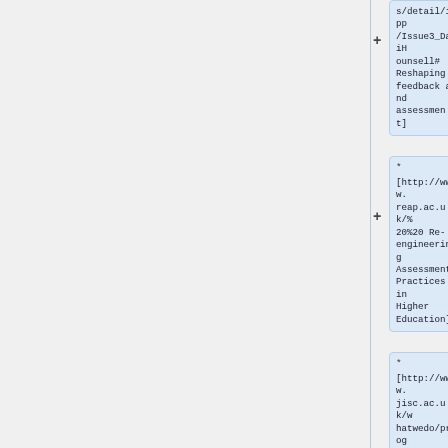s/detail/ipp/Issue3_DaiHounsell#Reshaping feedback and assessment]
* [http://www.reap.ac.uk/%20%20 Re-engineering Assessment Practices in Higher Education]
* [http://www.jisc.ac.uk/whatwedo/programmes/elearning/assessm